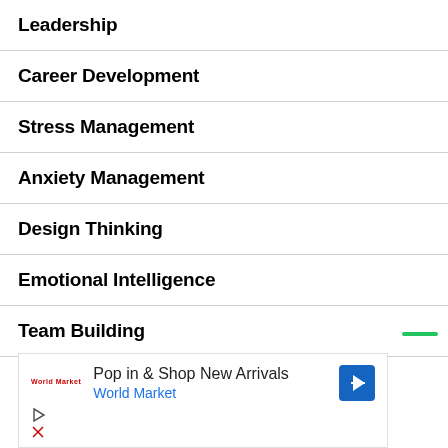Leadership
Career Development
Stress Management
Anxiety Management
Design Thinking
Emotional Intelligence
Team Building
Business Analytics
[Figure (other): Advertisement banner: Pop in & Shop New Arrivals - World Market, with World Market logo and navigation arrow icon]